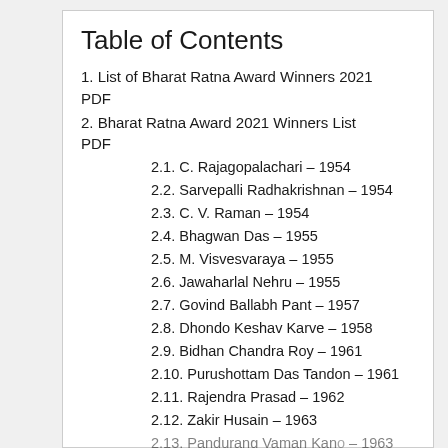Table of Contents
1. List of Bharat Ratna Award Winners 2021 PDF
2. Bharat Ratna Award 2021 Winners List PDF
2.1. C. Rajagopalachari – 1954
2.2. Sarvepalli Radhakrishnan – 1954
2.3. C. V. Raman – 1954
2.4. Bhagwan Das – 1955
2.5. M. Visvesvaraya – 1955
2.6. Jawaharlal Nehru – 1955
2.7. Govind Ballabh Pant – 1957
2.8. Dhondo Keshav Karve – 1958
2.9. Bidhan Chandra Roy – 1961
2.10. Purushottam Das Tandon – 1961
2.11. Rajendra Prasad – 1962
2.12. Zakir Husain – 1963
2.13. Pandurang Vaman Kane – 1963